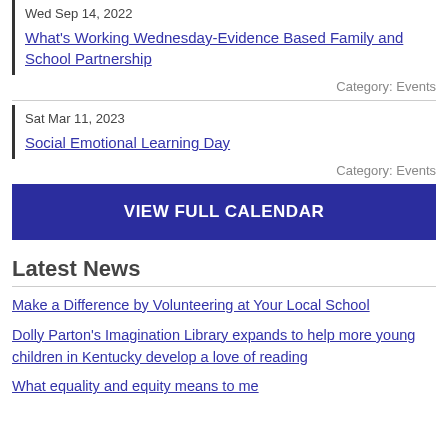Wed Sep 14, 2022
What's Working Wednesday-Evidence Based Family and School Partnership
Category: Events
Sat Mar 11, 2023
Social Emotional Learning Day
Category: Events
VIEW FULL CALENDAR
Latest News
Make a Difference by Volunteering at Your Local School
Dolly Parton's Imagination Library expands to help more young children in Kentucky develop a love of reading
What equality and equity means to me